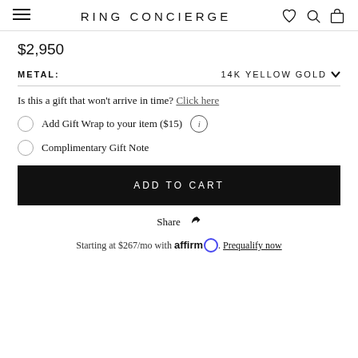RING CONCIERGE
$2,950
METAL: 14K YELLOW GOLD
Is this a gift that won't arrive in time? Click here
Add Gift Wrap to your item ($15)
Complimentary Gift Note
ADD TO CART
Share
Starting at $267/mo with affirm. Prequalify now